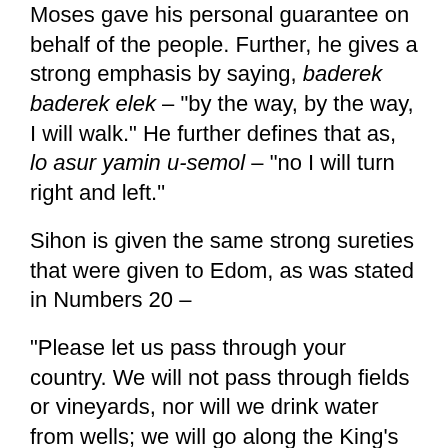Moses gave his personal guarantee on behalf of the people. Further, he gives a strong emphasis by saying, baderek baderek elek – "by the way, by the way, I will walk." He further defines that as, lo asur yamin u-semol – "no I will turn right and left."
Sihon is given the same strong sureties that were given to Edom, as was stated in Numbers 20 –
"Please let us pass through your country. We will not pass through fields or vineyards, nor will we drink water from wells; we will go along the King's Highway; we will not turn aside to the right hand or to the left until we have passed through your territory." Numbers 20:17
At that time, however, Edom refused passage to Israel, and so Israel turned and took another route. Eventually, as we will see, some of those in Edom did allow them a certain amount of passage